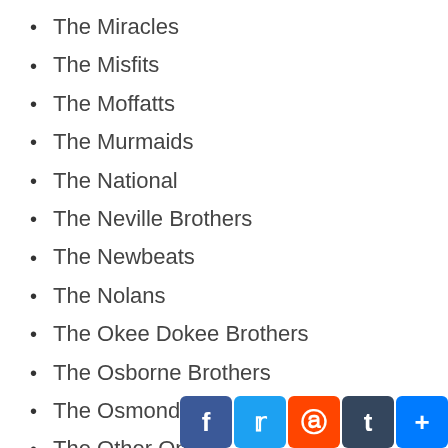The Miracles
The Misfits
The Moffatts
The Murmaids
The National
The Neville Brothers
The Newbeats
The Nolans
The Okee Dokee Brothers
The Osborne Brothers
The Osmonds
The Other Ones
The Pasadenas